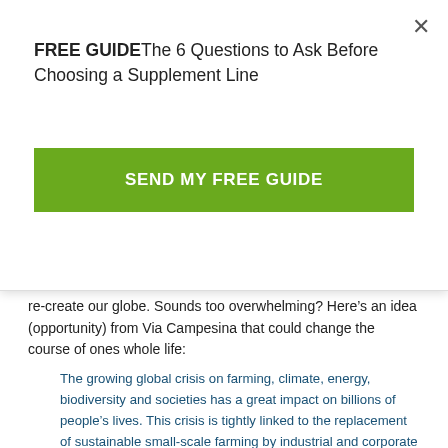FREE GUIDE The 6 Questions to Ask Before Choosing a Supplement Line
SEND MY FREE GUIDE
re-create our globe. Sounds too overwhelming? Here’s an idea (opportunity) from Via Campesina that could change the course of ones whole life:
The growing global crisis on farming, climate, energy, biodiversity and societies has a great impact on billions of people’s lives. This crisis is tightly linked to the replacement of sustainable small-scale farming by industrial and corporate ways of production and consumption. Just as numerous billions have been given to the [bail out of] banks over the last year, the support of governments for neo-liberal policies continue to annihilate small-scale farming and peasantry all over the world. These policies destroy ways of life, which have proved to maintain a harmonious link between human beings and their environment. In Europe these driving forces beat the road to collapse of farming and no country to the